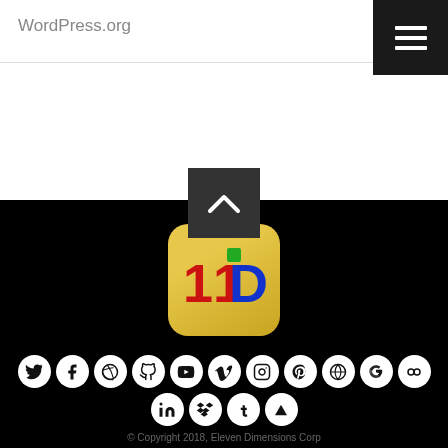WordPress.org
[Figure (logo): Eleven Dimensions Corp logo — golden rounded square with red '11' and blue 'D' lettering with green accent]
[Figure (infographic): Social media icon row 1: Twitter, Facebook, Dribbble, GitHub, YouTube, Vimeo, Instagram, Pinterest, WordPress, Google+, Flickr]
[Figure (infographic): Social media icon row 2: LinkedIn, Dropbox, Tumblr, pointing-up icon]
© Copyright 2018, Eleven Dimensions Corp